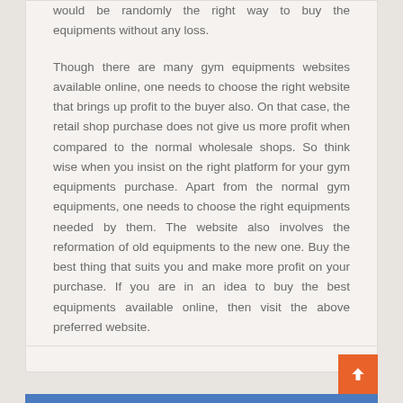would be randomly the right way to buy the equipments without any loss.
Though there are many gym equipments websites available online, one needs to choose the right website that brings up profit to the buyer also. On that case, the retail shop purchase does not give us more profit when compared to the normal wholesale shops. So think wise when you insist on the right platform for your gym equipments purchase. Apart from the normal gym equipments, one needs to choose the right equipments needed by them. The website also involves the reformation of old equipments to the new one. Buy the best thing that suits you and make more profit on your purchase. If you are in an idea to buy the best equipments available online, then visit the above preferred website.